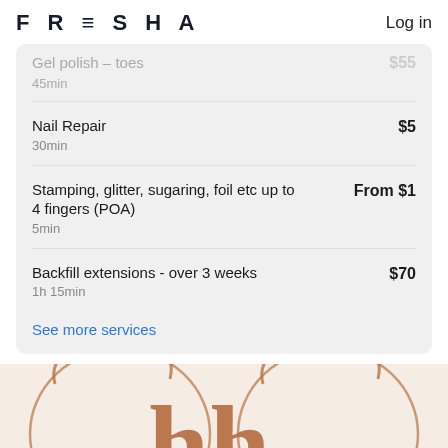FRESHA   Log in
Gel polish - toes   $55
45min
Nail Repair   $5
30min
Stamping, glitter, sugaring, foil etc up to 4 fingers (POA)   From $1
5min
Backfill extensions - over 3 weeks   $70
1h 15min
See more services
[Figure (logo): Decorative logo with stylized brown letter marks and circular line design on a beige/cream background]